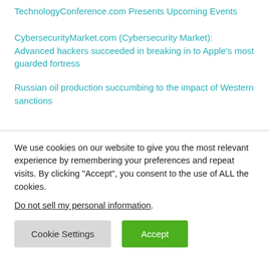TechnologyConference.com Presents Upcoming Events
CybersecurityMarket.com (Cybersecurity Market): Advanced hackers succeeded in breaking in to Apple’s most guarded fortress
Russian oil production succumbing to the impact of Western sanctions
We use cookies on our website to give you the most relevant experience by remembering your preferences and repeat visits. By clicking “Accept”, you consent to the use of ALL the cookies.
Do not sell my personal information.
Cookie Settings
Accept